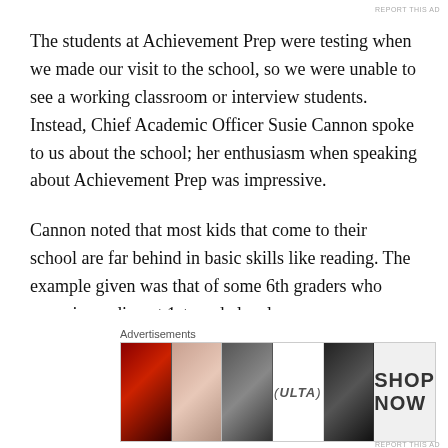REPORT THIS AD
The students at Achievement Prep were testing when we made our visit to the school, so we were unable to see a working classroom or interview students. Instead, Chief Academic Officer Susie Cannon spoke to us about the school; her enthusiasm when speaking about Achievement Prep was impressive.
Cannon noted that most kids that come to their school are far behind in basic skills like reading. The example given was that of some 6th graders who came in reading at 1st grade levels.
In regards to questions about Charter schools under fire
Advertisements
[Figure (photo): Advertisement banner showing beauty product images with ULTA branding and 'SHOP NOW' call to action]